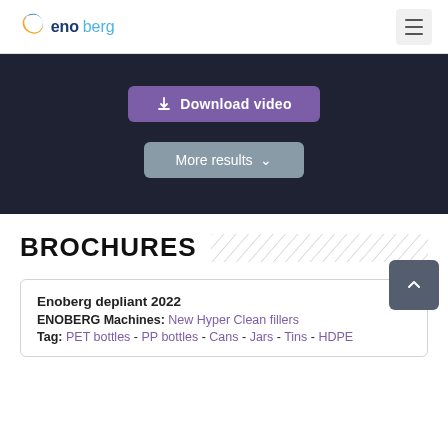enoberg
[Figure (screenshot): Dark background section with a purple 'Download video' button and a grey 'More results' button with chevron]
BROCHURES
Enoberg depliant 2022
ENOBERG Machines: New Hyper Clean fillers
Tag: PET bottles - PP bottles - Cans - Jars - Tins - HDPE